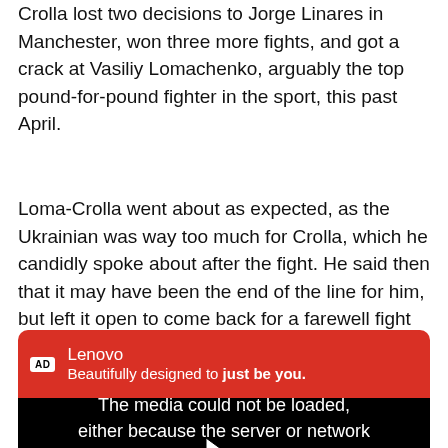Crolla lost two decisions to Jorge Linares in Manchester, won three more fights, and got a crack at Vasiliy Lomachenko, arguably the top pound-for-pound fighter in the sport, this past April.
Loma-Crolla went about as expected, as the Ukrainian was way too much for Crolla, which he candidly spoke about after the fight. He said then that it may have been the end of the line for him, but left it open to come back for a farewell fight by the end of the year.
[Figure (screenshot): Advertisement banner for Lenovo with red header showing 'AD' badge, company name 'Lenovo', tagline 'Beautifully designed to just be you.' followed by a black video player area showing error message 'The media could not be loaded, either because the server or network failed or because the format is not']